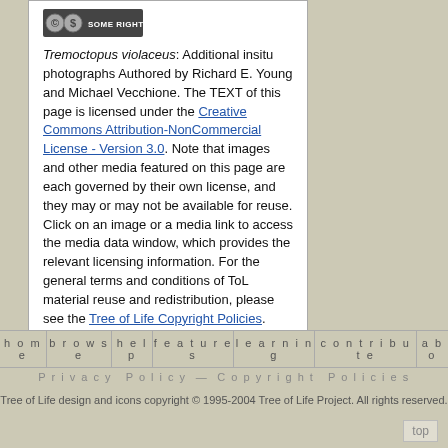[Figure (logo): Creative Commons 'Some Rights Reserved' badge/logo]
Tremoctopus violaceus: Additional insitu photographs Authored by Richard E. Young and Michael Vecchione. The TEXT of this page is licensed under the Creative Commons Attribution-NonCommercial License - Version 3.0. Note that images and other media featured on this page are each governed by their own license, and they may or may not be available for reuse. Click on an image or a media link to access the media data window, which provides the relevant licensing information. For the general terms and conditions of ToL material reuse and redistribution, please see the Tree of Life Copyright Policies.
home   browse   help   features   learning   contribute   abo...
Privacy Policy — Copyright Policies
Tree of Life design and icons copyright © 1995-2004 Tree of Life Project. All rights reserved.